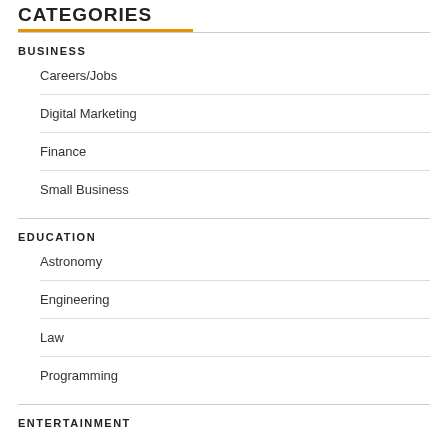CATEGORIES
BUSINESS
Careers/Jobs
Digital Marketing
Finance
Small Business
EDUCATION
Astronomy
Engineering
Law
Programming
ENTERTAINMENT